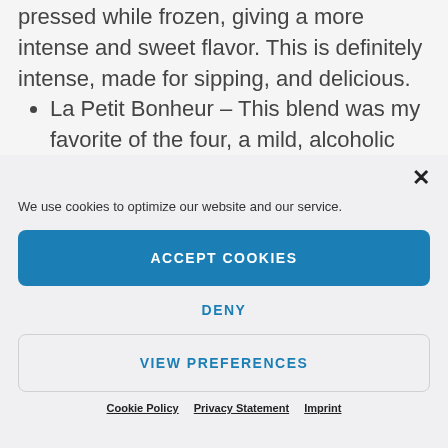pressed while frozen, giving a more intense and sweet flavor. This is definitely intense, made for sipping, and delicious.
La Petit Bonheur – This blend was my favorite of the four, a mild, alcoholic apple cider with a touch of maple added. I really
We use cookies to optimize our website and our service.
ACCEPT COOKIES
DENY
VIEW PREFERENCES
Cookie Policy   Privacy Statement   Imprint